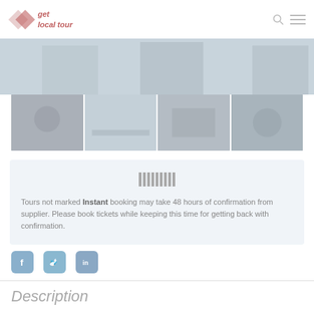[Figure (logo): get local tour logo with pink arrow shapes and italic text]
[Figure (photo): Main banner photo strip - faded travel/tour scene]
[Figure (photo): Row of four thumbnail travel photos showing tour scenes]
[Figure (infographic): Booking notice box with instant booking icon and text: Tours not marked instant booking may take 48 hours of confirmation from supplier. Please book tickets while keeping this time for getting back with confirmation.]
Tours not marked instant booking may take 48 hours of confirmation from supplier. Please book tickets while keeping this time for getting back with confirmation.
[Figure (infographic): Social media icons for Facebook, Twitter, and LinkedIn]
Description